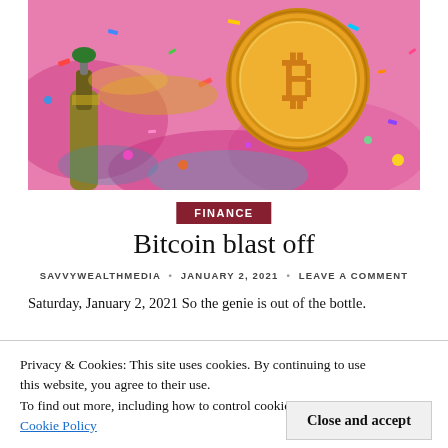[Figure (photo): A colorful festive photo of a gold Bitcoin coin surrounded by confetti and a champagne bottle on a vibrant pink and multi-colored background.]
FINANCE
Bitcoin blast off
SAVVYWEALTHMEDIA • JANUARY 2, 2021 • LEAVE A COMMENT
Saturday, January 2, 2021 So the genie is out of the bottle.
Privacy & Cookies: This site uses cookies. By continuing to use this website, you agree to their use.
To find out more, including how to control cookies, see here:
Cookie Policy
Close and accept